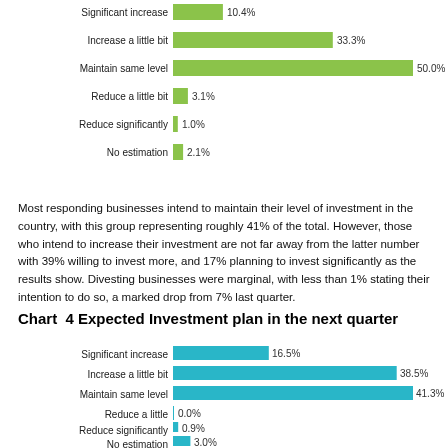[Figure (bar-chart): Current investment plan]
Most responding businesses intend to maintain their level of investment in the country, with this group representing roughly 41% of the total. However, those who intend to increase their investment are not far away from the latter number with 39% willing to invest more, and 17% planning to invest significantly as the results show. Divesting businesses were marginal, with less than 1% stating their intention to do so, a marked drop from 7% last quarter.
Chart 4 Expected Investment plan in the next quarter
[Figure (bar-chart): Expected Investment plan in the next quarter]